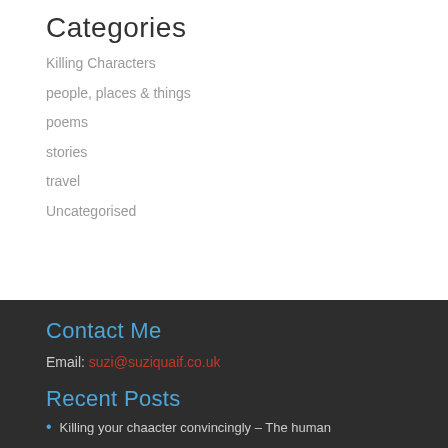Categories
Killing Characters
people, places & things
poems
stories
travel
Uncategorised
Contact Me
Email: suzi@suziquaif.co.uk
Recent Posts
Killing your chaacter convincingly – The human